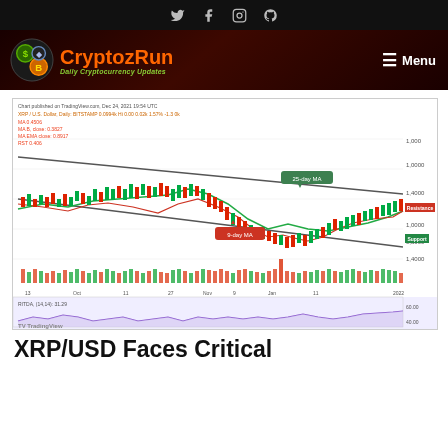CryptozRun - Daily Cryptocurrency Updates
[Figure (continuous-plot): XRP/USD daily candlestick chart from TradingView showing price action with 25-day MA and 9-day MA overlays, descending channel, resistance and support levels marked, volume bars at bottom, and RSI oscillator panel. Chart dated Dec 24, 2021. Resistance near $1.000, Support near $0.860. Price around $0.840-$0.860 range at end of chart heading into 2022.]
XRP/USD Faces Critical